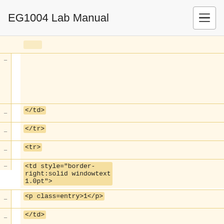EG1004 Lab Manual
Simplified Boolean Equation for the ATM Example</center><br>
</td>
</tr>
<tr>
<td style="border-right:solid windowtext 1.0pt">
<p class=entry>1</p>
</td>
<td style="border-right:solid windowtext 1.0pt">
<p class=entry>0</p>